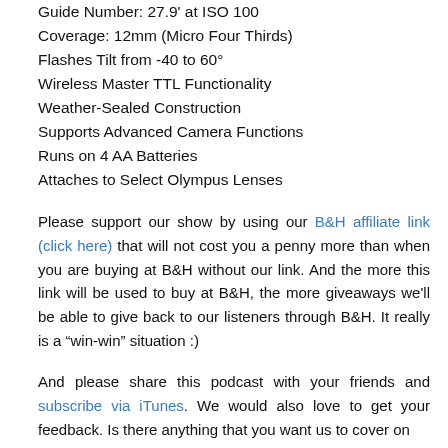Guide Number: 27.9' at ISO 100
Coverage: 12mm (Micro Four Thirds)
Flashes Tilt from -40 to 60°
Wireless Master TTL Functionality
Weather-Sealed Construction
Supports Advanced Camera Functions
Runs on 4 AA Batteries
Attaches to Select Olympus Lenses
Please support our show by using our B&H affiliate link (click here) that will not cost you a penny more than when you are buying at B&H without our link. And the more this link will be used to buy at B&H, the more giveaways we'll be able to give back to our listeners through B&H. It really is a “win-win” situation :)
And please share this podcast with your friends and subscribe via iTunes. We would also love to get your feedback. Is there anything that you want us to cover on